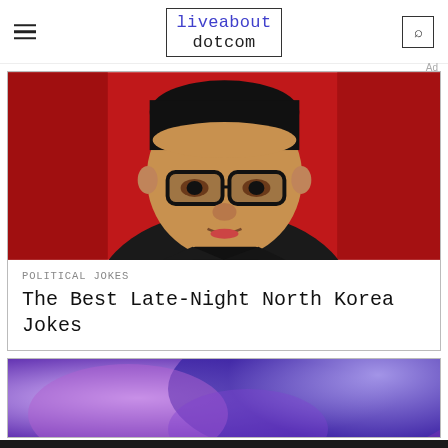liveabout dotcom
[Figure (photo): Photo of Kim Jong-un in black attire against a red background]
POLITICAL JOKES
The Best Late-Night North Korea Jokes
[Figure (photo): Blurred colorful background image (purple and blue tones)]
Ad
We help people find answers, solve problems and get inspired. Dotdash meredith